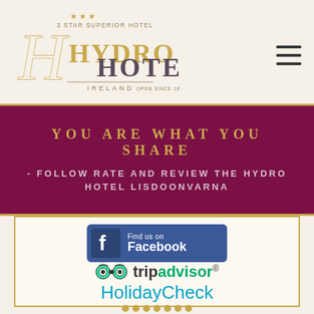[Figure (logo): Hydro Hotel Ireland logo with script H, '3 Star Superior Hotel' text and stars, 'Open Since 1875']
YOU ARE WHAT YOU SHARE
- FOLLOW RATE AND REVIEW THE HYDRO HOTEL LISDOONVARNA
[Figure (logo): Find us on Facebook blue button logo]
[Figure (logo): TripAdvisor logo with owl eyes icon]
[Figure (logo): HolidayCheck logo in teal with gold dots]